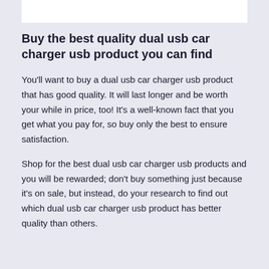Buy the best quality dual usb car charger usb product you can find
You'll want to buy a dual usb car charger usb product that has good quality. It will last longer and be worth your while in price, too! It's a well-known fact that you get what you pay for, so buy only the best to ensure satisfaction.
Shop for the best dual usb car charger usb products and you will be rewarded; don't buy something just because it's on sale, but instead, do your research to find out which dual usb car charger usb product has better quality than others.